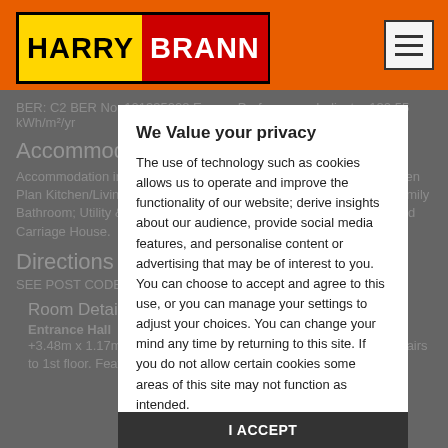[Figure (logo): Harry Brann logo: HARRY in black text on yellow background, BRANN in white text on red background, surrounded by black border]
BER: C2 BER No. 101335008 Energy Performance Indicator:180.55 kWh/m²/yr
Accommodation
Accommodation includes: Entrance Hall. Reception Room/Gym; Open Plan Kitchen/Living Dining Area; Study; 5 Bedrooms - 2 en-suite; Family Bathroom; Utility & Boot Room; 2 Guest WC's & Hot Press. Detached Carriage House.
Directions
SEE POST CODE D04Y/...
Room Details
Entrance Hall
+3.48m x 1.17m + 1.49m x 0.81m. Ceramic tiled floor. Red deal stairs to 1st floor. Feature side window. Coat Closet.
We Value your privacy

The use of technology such as cookies allows us to operate and improve the functionality of our website; derive insights about our audience, provide social media features, and personalise content or advertising that may be of interest to you. You can choose to accept and agree to this use, or you can manage your settings to adjust your choices. You can change your mind any time by returning to this site. If you do not allow certain cookies some areas of this site may not function as intended.

I ACCEPT